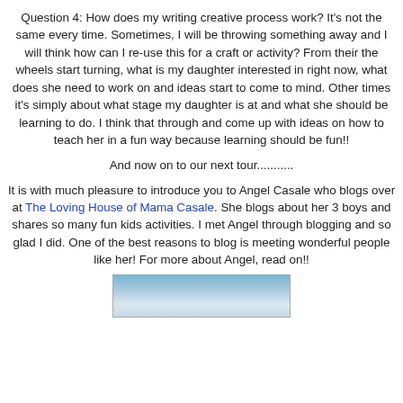Question 4: How does my writing creative process work?  It's not the same every time.  Sometimes, I will be throwing something away and I will think how can I re-use this for a craft or activity?  From their the wheels start turning, what is my daughter interested in right now, what does she need to work on and ideas start to come to mind.  Other times it's simply about what stage my daughter is at and what she should be learning to do.  I think that through and come up with ideas on how to teach her in a fun way because learning should be fun!!
And now on to our next tour...........
It is with much pleasure to introduce you to Angel Casale who blogs over at The Loving House of Mama Casale.  She blogs about her 3 boys and shares so many fun kids activities.  I met Angel through blogging and so glad I did.  One of the best reasons to blog is meeting wonderful people like her!  For more about Angel, read on!!
[Figure (photo): Partial photo at bottom of page, appears to show an outdoor scene with sky and possibly water or landscape.]